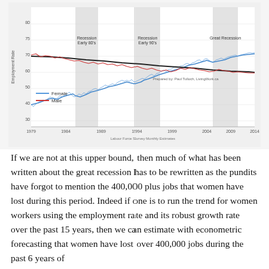[Figure (line-chart): Line chart showing employment rate over time for females (blue) and males (red/black trend line). Three recession bands are highlighted: Early 80s, Early 90s, and Great Recession. Female employment rises steeply from ~40% in 1979 to ~75% by 2014. Male employment declines from ~75% to ~65%. Source: Labour Force Survey Monthly Estimates. Prepared by Paul Tulloch, LivingWork.ca]
If we are not at this upper bound, then much of what has been written about the great recession has to be rewritten as the pundits have forgot to mention the 400,000 plus jobs that women have lost during this period. Indeed if one is to run the trend for women workers using the employment rate and its robust growth rate over the past 15 years, then we can estimate with econometric forecasting that women have lost over 400,000 jobs during the past 6 years of